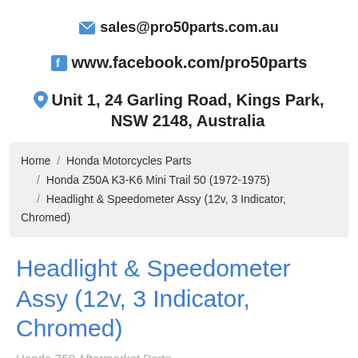✉ sales@pro50parts.com.au
f www.facebook.com/pro50parts
Unit 1, 24 Garling Road, Kings Park, NSW 2148, Australia
Home / Honda Motorcycles Parts / Honda Z50A K3-K6 Mini Trail 50 (1972-1975) / Headlight & Speedometer Assy (12v, 3 Indicator, Chromed)
Headlight & Speedometer Assy (12v, 3 Indicator, Chromed)
Honda Z50 Aftermarket Parts